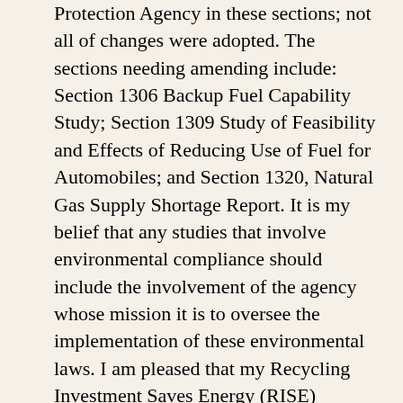Protection Agency in these sections; not all of changes were adopted. The sections needing amending include: Section 1306 Backup Fuel Capability Study; Section 1309 Study of Feasibility and Effects of Reducing Use of Fuel for Automobiles; and Section 1320, Natural Gas Supply Shortage Report. It is my belief that any studies that involve environmental compliance should include the involvement of the agency whose mission it is to oversee the implementation of these environmental laws. I am pleased that my Recycling Investment Saves Energy (RISE) provisions were included as section 1545 of the final bill. The provisions will provide almost $100 million in tax incentives for recyclers over the next decade to preserve and expand our nation's recycling infrastructure. The targeted 15 percent tax credit for equipment used in the processing and sorting of recyclable materials will increase quantity and quality of recyclable materials collected. This national investment is necessary to reverse the declining recycling rate of many consumer commodities, including aluminum, glass and plastic, which are near historic lows. It will also